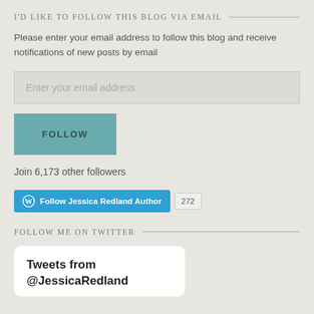I'D LIKE TO FOLLOW THIS BLOG VIA EMAIL
Please enter your email address to follow this blog and receive notifications of new posts by email
Enter your email address
FOLLOW
Join 6,173 other followers
[Figure (other): WordPress Follow button for Jessica Redland Author with follower count 272]
FOLLOW ME ON TWITTER
Tweets from @JessicaRedland